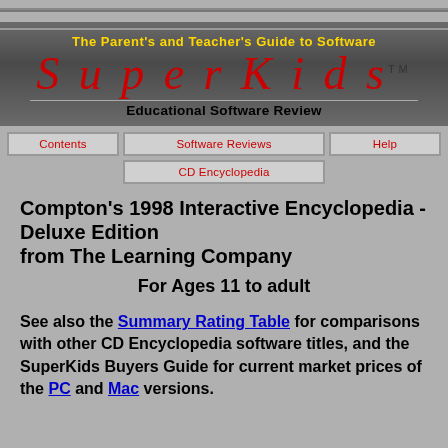[Figure (logo): SuperKids Educational Software Review logo with tagline and navigation buttons]
Compton's 1998 Interactive Encyclopedia - Deluxe Edition
from The Learning Company
For Ages 11 to adult
See also the Summary Rating Table for comparisons with other CD Encyclopedia software titles, and the SuperKids Buyers Guide for current market prices of the PC and Mac versions.